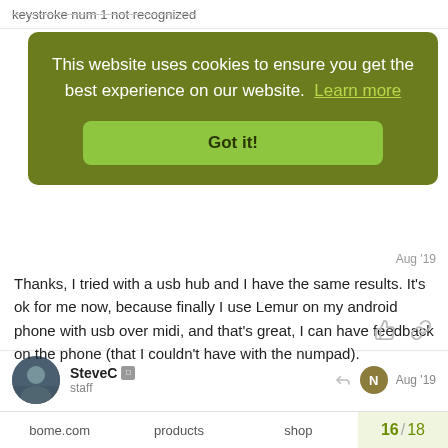keystroke num 1 not recognized
[Figure (screenshot): Cookie consent banner overlay with dark olive/green background. Text reads: 'This website uses cookies to ensure you get the best experience on our website. Learn more' with a 'Got it!' button below.]
Thanks, I tried with a usb hub and I have the same results. It's ok for me now, because finally I use Lemur on my android phone with usb over midi, and that's great, I can have feedback on the phone (that I couldn't have with the numpad).
SteveC
staff
Aug '19
OK, let me know if it becomes a problem. It doesn't surprise me that same problem on BomeBox as MIDI translator uses the
bome.com   products   shop   16 / 18